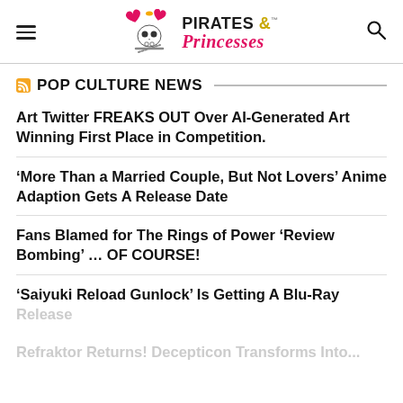Pirates & Princesses
POP CULTURE NEWS
Art Twitter FREAKS OUT Over AI-Generated Art Winning First Place in Competition.
‘More Than a Married Couple, But Not Lovers’ Anime Adaption Gets A Release Date
Fans Blamed for The Rings of Power ‘Review Bombing’ … OF COURSE!
‘Saiyuki Reload Gunlock’ Is Getting A Blu-Ray Release
Refraktor Returns! Decepticon Transforms Into...